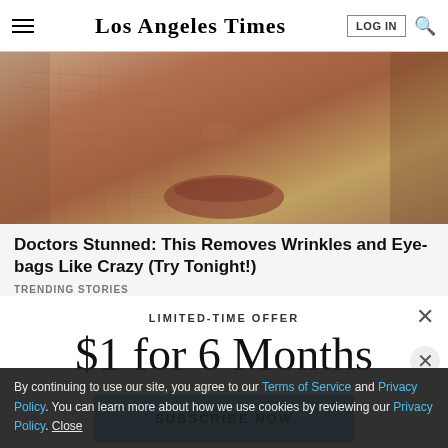Los Angeles Times
[Figure (photo): Close-up photograph of elderly skin showing wrinkles around the mouth and nose area with warm skin tones]
Doctors Stunned: This Removes Wrinkles and Eye-bags Like Crazy (Try Tonight!)
TRENDING STORIES
LIMITED-TIME OFFER
$1 for 6 Months
SUBSCRIBE NOW
By continuing to use our site, you agree to our Terms of Service and Privacy Policy. You can learn more about how we use cookies by reviewing our Privacy Policy. Close